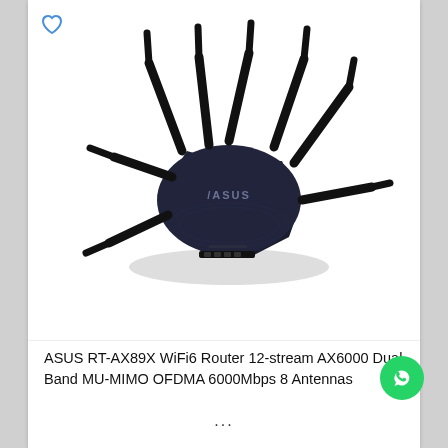[Figure (photo): ASUS RT-AX89X WiFi6 router with 8 antennas, dark navy/black octagonal body, viewed from above at an angle. The ASUS logo is visible on top. Product photo on white background.]
ASUS RT-AX89X WiFi6 Router 12-stream AX6000 Dual Band MU-MIMO OFDMA 6000Mbps 8 Antennas